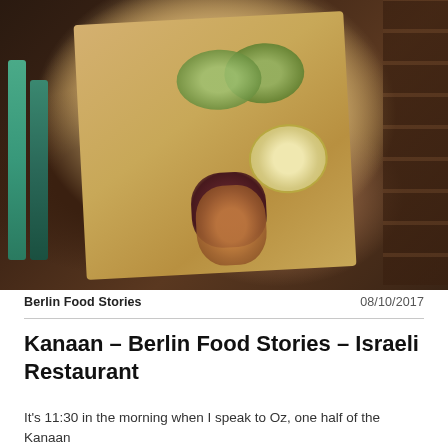[Figure (photo): Overhead shot of multiple Israeli/Middle Eastern dishes arranged on a wooden board, including hummus, beet salad, grilled cauliflower, and vegetable salads with microgreens, placed on a dark wooden table with green-painted wooden chair back visible on the left.]
Berlin Food Stories    08/10/2017
Kanaan – Berlin Food Stories – Israeli Restaurant
It's 11:30 in the morning when I speak to Oz, one half of the Kanaan